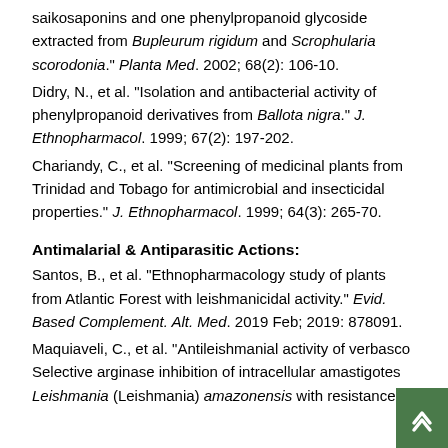saikosaponins and one phenylpropanoid glycoside extracted from Bupleurum rigidum and Scrophularia scorodonia." Planta Med. 2002; 68(2): 106-10.
Didry, N., et al. "Isolation and antibacterial activity of phenylpropanoid derivatives from Ballota nigra." J. Ethnopharmacol. 1999; 67(2): 197-202.
Chariandy, C., et al. "Screening of medicinal plants from Trinidad and Tobago for antimicrobial and insecticidal properties." J. Ethnopharmacol. 1999; 64(3): 265-70.
Antimalarial & Antiparasitic Actions:
Santos, B., et al. "Ethnopharmacology study of plants from Atlantic Forest with leishmanicidal activity." Evid. Based Complement. Alt. Med. 2019 Feb; 2019: 878091.
Maquiaveli, C., et al. "Antileishmanial activity of verbasco Selective arginase inhibition of intracellular amastigotes Leishmania (Leishmania) amazonensis with resistance